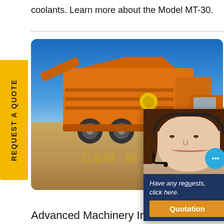coolants. Learn more about the Model MT-30.
[Figure (photo): Large orange mobile crushing/screening machine (C&M brand) on a desert/sandy site under a blue sky, with a 'REQUEST A QUOTE' yellow tab on the left side and a C&M M watermark text at the bottom of the image.]
[Figure (photo): Chat widget popup showing a female customer service agent wearing a headset, with a blue chat bubble icon, text 'Have any requests, click here.' in italic white on dark blue background, and a gold 'Quotation' button below. A black X close button is in the top right corner.]
Advanced Machinery Im